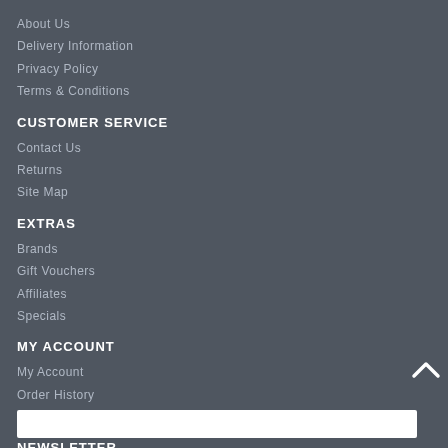About Us
Delivery Information
Privacy Policy
Terms & Conditions
CUSTOMER SERVICE
Contact Us
Returns
Site Map
EXTRAS
Brands
Gift Vouchers
Affiliates
Specials
MY ACCOUNT
My Account
Order History
Wish List
NEWSLETTER
Be the first to find out about our newest offerings and hottest deals, and what's new.